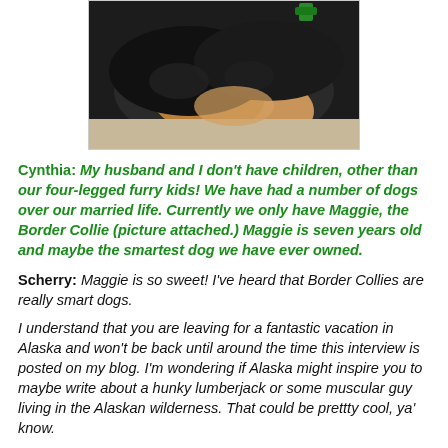[Figure (photo): Close-up photo of a black and tan Border Collie dog, with a small green decoration visible near the top of the image.]
Cynthia:  My husband and I don't have children, other than our four-legged furry kids! We have had a number of dogs over our married life. Currently we only have Maggie, the Border Collie (picture attached.) Maggie is seven years old and maybe the smartest dog we have ever owned.
Scherry:  Maggie is so sweet!  I've heard that Border Collies are really smart dogs.
I understand that you are leaving for a fantastic vacation in Alaska and won't be back until around the time this interview is posted on my blog.  I'm wondering if Alaska might inspire you to maybe write about a hunky lumberjack or some muscular guy living in the Alaskan wilderness.  That could be prettty cool, ya' know.
Cynthia:  Even though I haven't been on the trip yet,